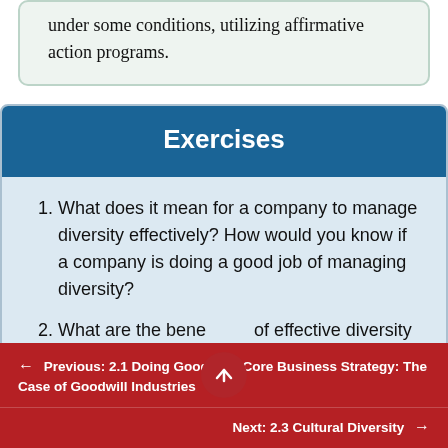under some conditions, utilizing affirmative action programs.
Exercises
What does it mean for a company to manage diversity effectively? How would you know if a company is doing a good job of managing diversity?
What are the benefits of effective diversity
← Previous: 2.1 Doing Good as a Core Business Strategy: The Case of Goodwill Industries   Next: 2.3 Cultural Diversity →